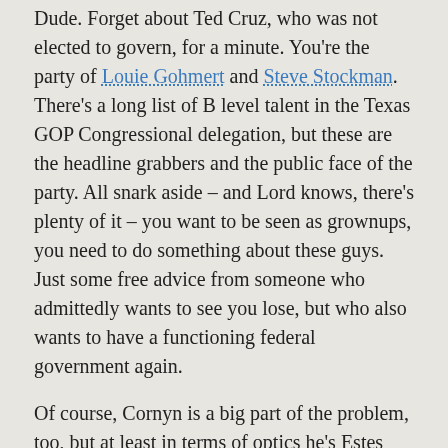Dude. Forget about Ted Cruz, who was not elected to govern, for a minute. You're the party of Louie Gohmert and Steve Stockman. There's a long list of B level talent in the Texas GOP Congressional delegation, but these are the headline grabbers and the public face of the party. All snark aside – and Lord knows, there's plenty of it – you want to be seen as grownups, you need to do something about these guys. Just some free advice from someone who admittedly wants to see you lose, but who also wants to have a functioning federal government again.
Of course, Cornyn is a big part of the problem, too, but at least in terms of optics he's Estes Kefauver next to those guys. Needless to say, we can do better. I've already mentioned Maxey Scherr, and I look forward to hearing more from her camapaign. Scherr now has some company in the primary, as former Republican